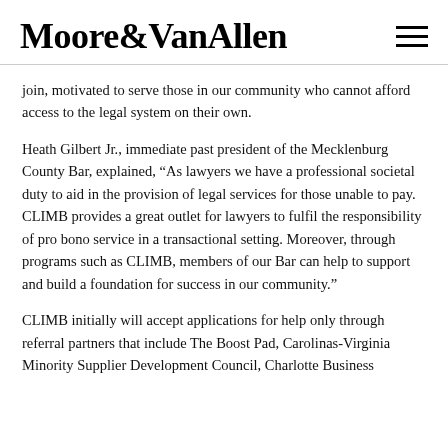Moore&VanAllen
join, motivated to serve those in our community who cannot afford access to the legal system on their own.
Heath Gilbert Jr., immediate past president of the Mecklenburg County Bar, explained, “As lawyers we have a professional societal duty to aid in the provision of legal services for those unable to pay. CLIMB provides a great outlet for lawyers to fulfil the responsibility of pro bono service in a transactional setting. Moreover, through programs such as CLIMB, members of our Bar can help to support and build a foundation for success in our community.”
CLIMB initially will accept applications for help only through referral partners that include The Boost Pad, Carolinas-Virginia Minority Supplier Development Council, Charlotte Business